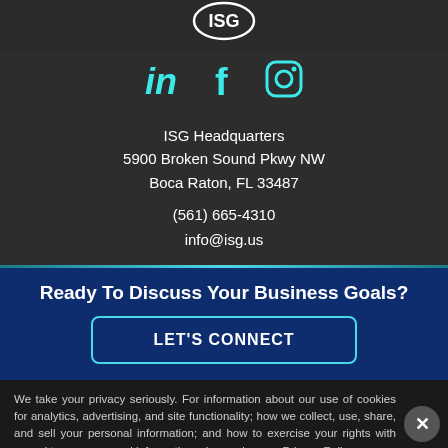[Figure (logo): ISG company logo in circle with white outline on dark background]
[Figure (illustration): Social media icons: LinkedIn (in), Facebook (f), Instagram (camera) in cyan/teal color]
ISG Headquarters
5900 Broken Sound Pkwy NW
Boca Raton, FL 33487
(561) 665-4310
info@isg.us
Ready To Discuss Your Business Goals?
LET'S CONNECT
We take your privacy seriously. For information about our use of cookies for analytics, advertising, and site functionality; how we collect, use, share, and sell your personal information; and how to exercise your rights with regard to your personal information, please view our Privacy Policy.